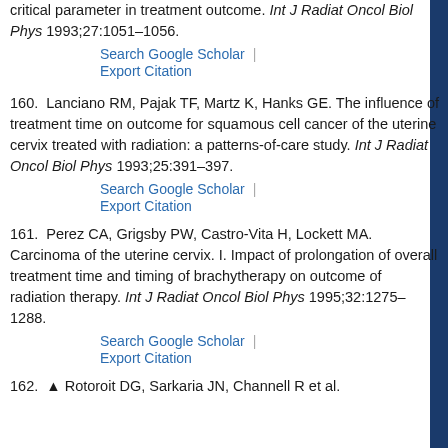critical parameter in treatment outcome. Int J Radiat Oncol Biol Phys 1993;27:1051–1056.
Search Google Scholar | Export Citation
160.  Lanciano RM, Pajak TF, Martz K, Hanks GE. The influence of treatment time on outcome for squamous cell cancer of the uterine cervix treated with radiation: a patterns-of-care study. Int J Radiat Oncol Biol Phys 1993;25:391–397.
Search Google Scholar | Export Citation
161.  Perez CA, Grigsby PW, Castro-Vita H, Lockett MA. Carcinoma of the uterine cervix. I. Impact of prolongation of overall treatment time and timing of brachytherapy on outcome of radiation therapy. Int J Radiat Oncol Biol Phys 1995;32:1275–1288.
Search Google Scholar | Export Citation
162.  Rotoroit DG, Sarkaria JN, Channell R et al.